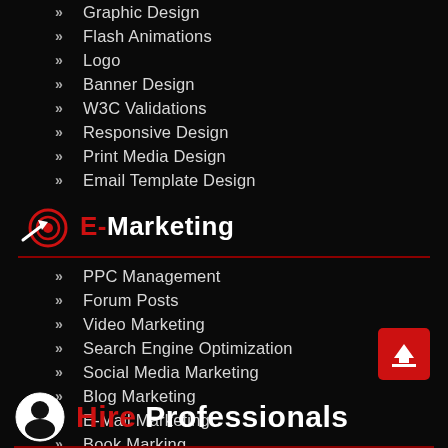» Graphic Design
» Flash Animations
» Logo
» Banner Design
» W3C Validations
» Responsive Design
» Print Media Design
» Email Template Design
E-Marketing
» PPC Management
» Forum Posts
» Video Marketing
» Search Engine Optimization
» Social Media Marketing
» Blog Marketing
» E-Mail Marketing
» Book Marking
» Link Building
Hire Professionals